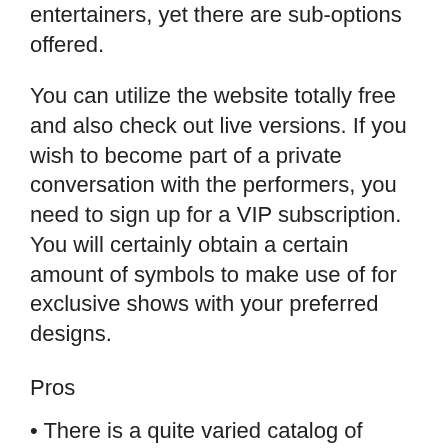entertainers, yet there are sub-options offered.
You can utilize the website totally free and also check out live versions. If you wish to become part of a private conversation with the performers, you need to sign up for a VIP subscription. You will certainly obtain a certain amount of symbols to make use of for exclusive shows with your preferred designs.
Pros
There is a quite varied catalog of models on the site
The website has an user-friendly design as well as is easy to use